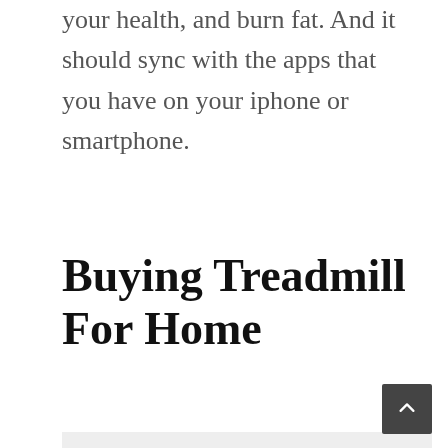your health, and burn fat. And it should sync with the apps that you have on your iphone or smartphone.
Buying Treadmill For Home
One of the most important steps to buying a treadmill is trying one out before you